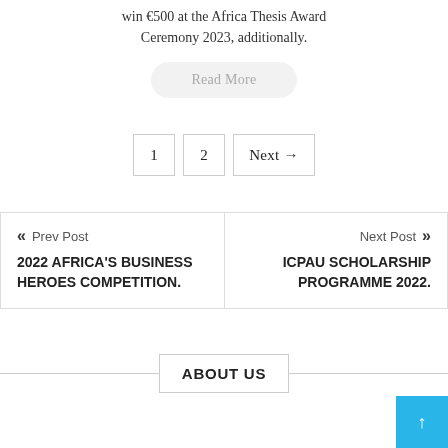win €500 at the Africa Thesis Award Ceremony 2023, additionally.
Read More
1   2   Next →
« Prev Post
2022 AFRICA'S BUSINESS HEROES COMPETITION.
Next Post »
ICPAU SCHOLARSHIP PROGRAMME 2022.
ABOUT US